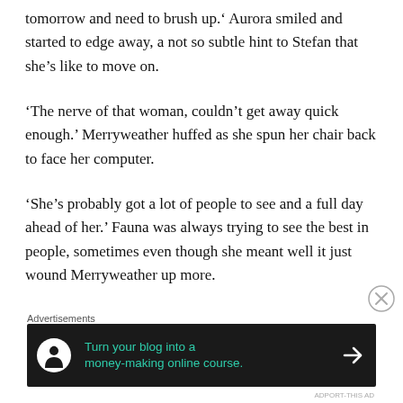tomorrow and need to brush up.' Aurora smiled and started to edge away, a not so subtle hint to Stefan that she's like to move on.
'The nerve of that woman, couldn't get away quick enough.' Merryweather huffed as she spun her chair back to face her computer.
'She's probably got a lot of people to see and a full day ahead of her.' Fauna was always trying to see the best in people, sometimes even though she meant well it just wound Merryweather up more.
[cut-off text at bottom]
Advertisements
[Figure (other): Advertisement banner: dark background with tree/person icon, teal text reading 'Turn your blog into a money-making online course.' with right arrow]